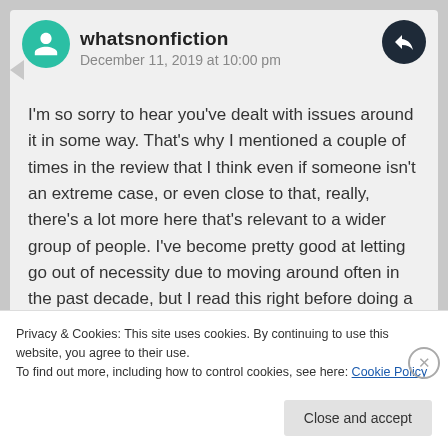whatsnonfiction
December 11, 2019 at 10:00 pm
I'm so sorry to hear you've dealt with issues around it in some way. That's why I mentioned a couple of times in the review that I think even if someone isn't an extreme case, or even close to that, really, there's a lot more here that's relevant to a wider group of people. I've become pretty good at letting go out of necessity due to moving around often in the past decade, but I read this right before doing a major clean-out and it helped shape my thinking, like around why I was holding
Privacy & Cookies: This site uses cookies. By continuing to use this website, you agree to their use.
To find out more, including how to control cookies, see here: Cookie Policy